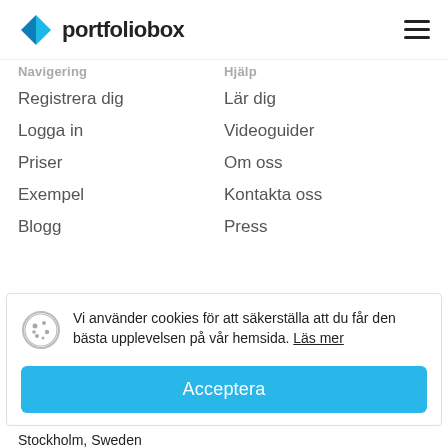portfoliobox
Navigering
Hjälp
Registrera dig
Logga in
Priser
Exempel
Blogg
Lär dig
Videoguider
Om oss
Kontakta oss
Press
Vi använder cookies för att säkerställa att du får den bästa upplevelsen på vår hemsida. Läs mer
Acceptera
Stockholm, Sweden